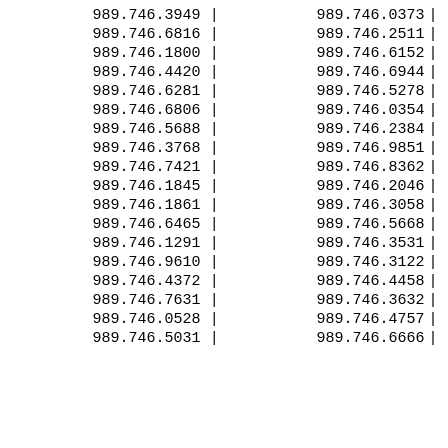| 989.746.3949 | | | 989.746.0373 | | |
| 989.746.6816 | | | 989.746.2511 | | |
| 989.746.1800 | | | 989.746.6152 | | |
| 989.746.4420 | | | 989.746.6944 | | |
| 989.746.6281 | | | 989.746.5278 | | |
| 989.746.6806 | | | 989.746.0354 | | |
| 989.746.5688 | | | 989.746.2384 | | |
| 989.746.3768 | | | 989.746.9851 | | |
| 989.746.7421 | | | 989.746.8362 | | |
| 989.746.1845 | | | 989.746.2046 | | |
| 989.746.1861 | | | 989.746.3058 | | |
| 989.746.6465 | | | 989.746.5668 | | |
| 989.746.1291 | | | 989.746.3531 | | |
| 989.746.9610 | | | 989.746.3122 | | |
| 989.746.4372 | | | 989.746.4458 | | |
| 989.746.7631 | | | 989.746.3632 | | |
| 989.746.0528 | | | 989.746.4757 | | |
| 989.746.5031 | | | 989.746.6666 | | |